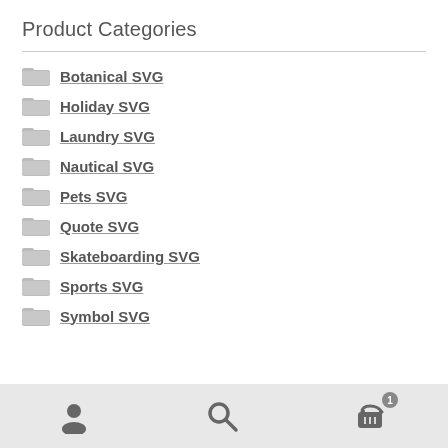Product Categories
Botanical SVG
Holiday SVG
Laundry SVG
Nautical SVG
Pets SVG
Quote SVG
Skateboarding SVG
Sports SVG
Symbol SVG
User | Search | Cart (1)